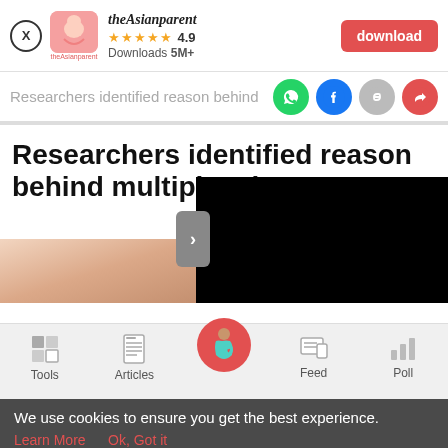[Figure (screenshot): App download banner for theAsianparent app with close button, app icon, name, 4.9 star rating, 5M+ downloads, and red download button]
Researchers identified reason behind
[Figure (infographic): Share bar with WhatsApp, Facebook, link, and forward icons in colored circles]
Researchers identified reason behind multiple mi
[Figure (photo): Article header image partially visible, with black overlay blocking right portion]
[Figure (infographic): Bottom navigation bar with Tools, Articles, Feed, and Poll icons]
We use cookies to ensure you get the best experience.
Learn More   Ok, Got it